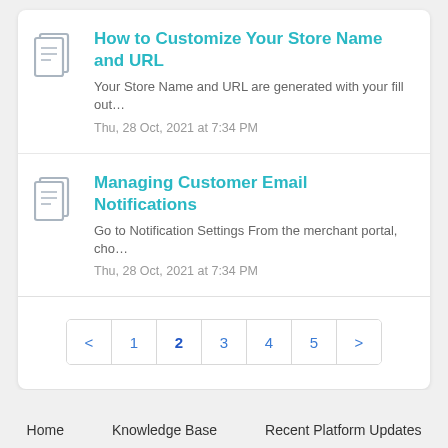How to Customize Your Store Name and URL
Your Store Name and URL are generated with your fill out…
Thu, 28 Oct, 2021 at 7:34 PM
Managing Customer Email Notifications
Go to Notification Settings From the merchant portal, cho…
Thu, 28 Oct, 2021 at 7:34 PM
< 1 2 3 4 5 >
Home   Knowledge Base   Recent Platform Updates